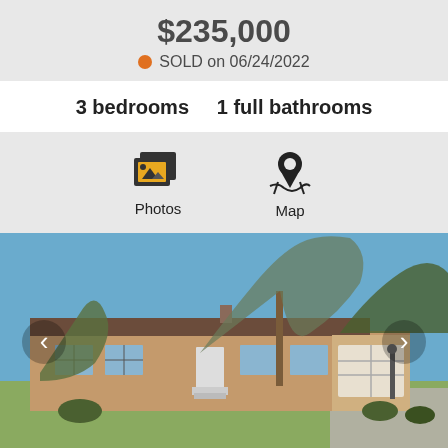$235,000
SOLD on 06/24/2022
3 bedrooms    1 full bathrooms
[Figure (infographic): Photos and Map navigation icons with labels]
[Figure (photo): Exterior photo of a single-story ranch-style brick house with garage, large trees, and lawn. Left and right navigation arrows visible.]